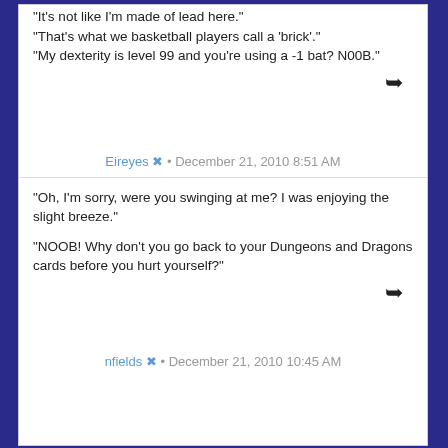"It's not like I'm made of lead here." "That's what we basketball players call a 'brick'." "My dexterity is level 99 and you're using a -1 bat? N00B."
Eireyes · December 21, 2010 8:51 AM
"Oh, I'm sorry, were you swinging at me? I was enjoying the slight breeze." "NOOB! Why don't you go back to your Dungeons and Dragons cards before you hurt yourself?"
nfields · December 21, 2010 10:45 AM